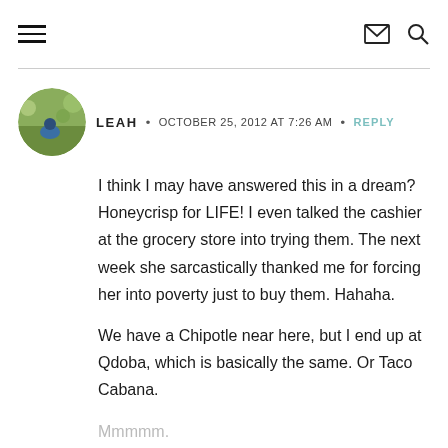≡  ✉  🔍
LEAH • OCTOBER 25, 2012 AT 7:26 AM • REPLY
I think I may have answered this in a dream? Honeycrisp for LIFE! I even talked the cashier at the grocery store into trying them. The next week she sarcastically thanked me for forcing her into poverty just to buy them. Hahaha.

We have a Chipotle near here, but I end up at Qdoba, which is basically the same. Or Taco Cabana.
Mmmmm.